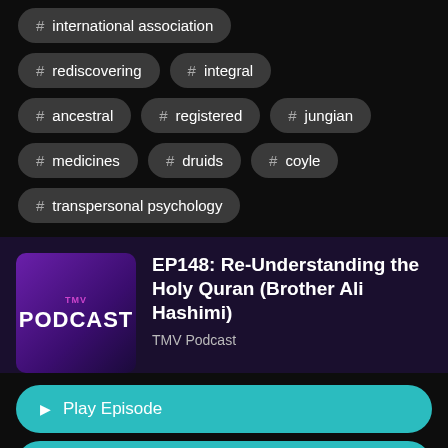# international association
# rediscovering
# integral
# ancestral
# registered
# jungian
# medicines
# druids
# coyle
# transpersonal psychology
[Figure (logo): TMV PODCAST logo — purple gradient background with white bold text]
EP148: Re-Understanding the Holy Quran (Brother Ali Hashimi)
TMV Podcast
Play Episode
Listen Later